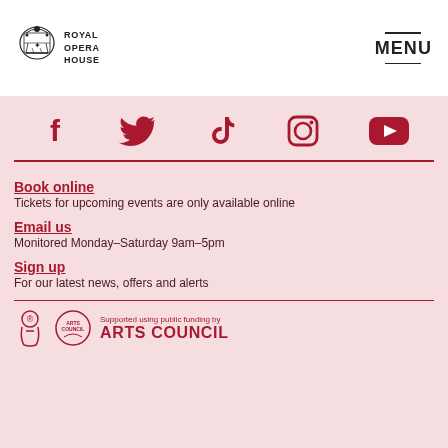[Figure (logo): Royal Opera House logo with crown/crest emblem and text ROYAL OPERA HOUSE]
[Figure (illustration): MENU navigation button with two horizontal lines above and below the word MENU]
[Figure (illustration): Social media icons in crimson red: Facebook, Twitter, TikTok, Instagram, YouTube on pink background]
Book online
Tickets for upcoming events are only available online
Email us
Monitored Monday–Saturday 9am–5pm
Sign up
For our latest news, offers and alerts
[Figure (logo): Arts Council England logo with red figure and circular Arts Council text, supported by public funding text and ARTS COUNCIL in large red text]